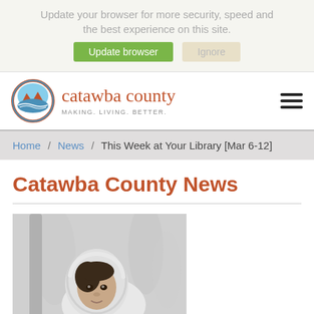Update your browser for more security, speed and the best experience on this site.
Update browser   Ignore
[Figure (logo): Catawba County logo: circular badge with mountains and water, orange and teal colors]
catawba county MAKING. LIVING. BETTER.
Home / News / This Week at Your Library [Mar 6-12]
Catawba County News
[Figure (photo): A young girl wearing a fuzzy hooded coat, peeking from behind a tree, black and white background with bokeh effect]